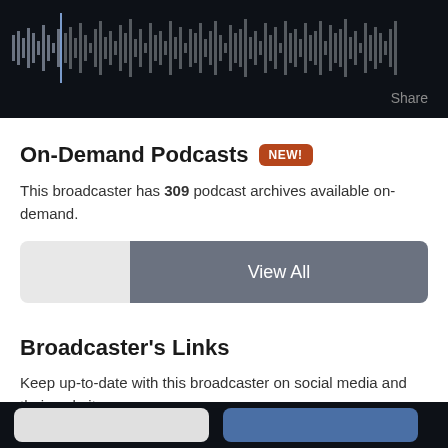[Figure (other): Audio waveform visualization on dark background with vertical playhead line and Share button]
Share
On-Demand Podcasts NEW!
This broadcaster has 309 podcast archives available on-demand.
View All
Broadcaster's Links
Keep up-to-date with this broadcaster on social media and their website.